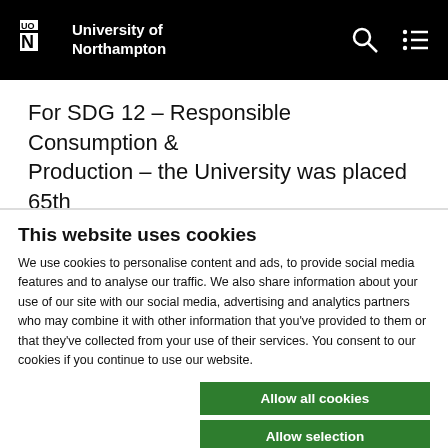University of Northampton
For SDG 12 – Responsible Consumption & Production – the University was placed 65th globally
This website uses cookies
We use cookies to personalise content and ads, to provide social media features and to analyse our traffic. We also share information about your use of our site with our social media, advertising and analytics partners who may combine it with other information that you've provided to them or that they've collected from your use of their services. You consent to our cookies if you continue to use our website.
Allow all cookies
Allow selection
Use necessary cookies only
Necessary  Preferences  Statistics  Marketing  Show details